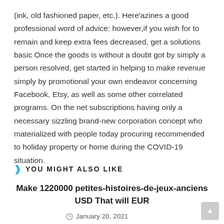(ink, old fashioned paper, etc.). Here'azines a good professional word of advice: however,if you wish for to remain and keep extra fees decreased, get a solutions basic Once the goods is without a doubt got by simply a person resolved, get started in helping to make revenue simply by promotional your own endeavor concerning Facebook, Etsy, as well as some other correlated programs. On the net subscriptions having only a necessary sizzling brand-new corporation concept who materialized with people today procuring recommended to holiday property or home during the COVID-19 situation.
YOU MIGHT ALSO LIKE
Make 1220000 petites-histoires-de-jeux-anciens USD That will EUR
January 20, 2021